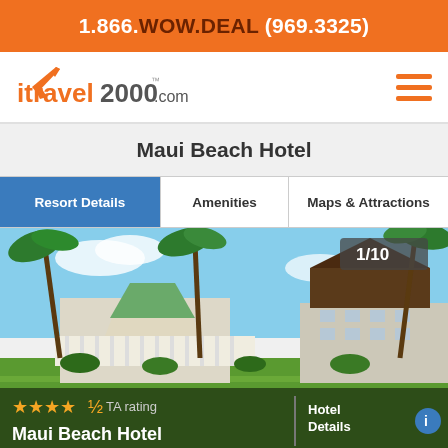1.866.WOW.DEAL (969.3325)
[Figure (logo): itravel2000.com logo with airplane icon]
Maui Beach Hotel
Resort Details | Amenities | Maps & Attractions
[Figure (photo): Exterior photo of Maui Beach Hotel showing gazebo, palm trees, and hotel building with green lawn. Badge shows 1/10. Stars rating and Hotel Details overlay at bottom. Hotel name: Maui Beach Hotel.]